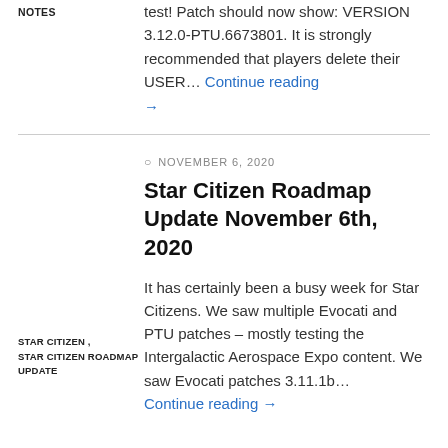NOTES
test! Patch should now show: VERSION 3.12.0-PTU.6673801. It is strongly recommended that players delete their USER… Continue reading →
NOVEMBER 6, 2020
Star Citizen Roadmap Update November 6th, 2020
It has certainly been a busy week for Star Citizens. We saw multiple Evocati and PTU patches – mostly testing the Intergalactic Aerospace Expo content. We saw Evocati patches 3.11.1b… Continue reading →
STAR CITIZEN , STAR CITIZEN ROADMAP UPDATE